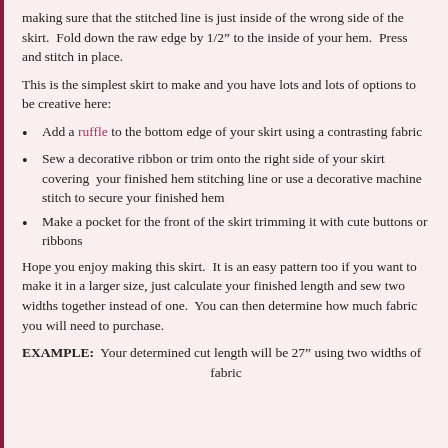making sure that the stitched line is just inside of the wrong side of the skirt.  Fold down the raw edge by 1/2” to the inside of your hem.  Press and stitch in place.
This is the simplest skirt to make and you have lots and lots of options to be creative here:
Add a ruffle to the bottom edge of your skirt using a contrasting fabric
Sew a decorative ribbon or trim onto the right side of your skirt covering  your finished hem stitching line or use a decorative machine stitch to secure your finished hem
Make a pocket for the front of the skirt trimming it with cute buttons or ribbons
Hope you enjoy making this skirt.  It is an easy pattern too if you want to make it in a larger size, just calculate your finished length and sew two widths together instead of one.  You can then determine how much fabric you will need to purchase.
EXAMPLE:  Your determined cut length will be 27” using two widths of fabric